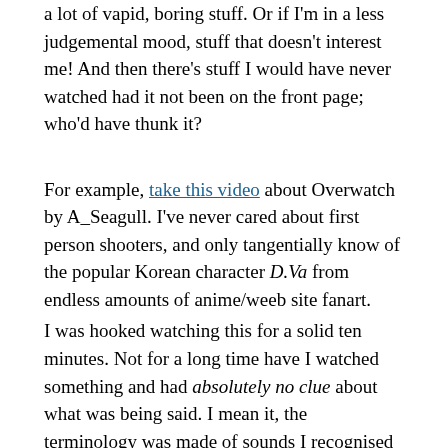a lot of vapid, boring stuff. Or if I'm in a less judgemental mood, stuff that doesn't interest me! And then there's stuff I would have never watched had it not been on the front page; who'd have thunk it?
For example, take this video about Overwatch by A_Seagull. I've never cared about first person shooters, and only tangentially know of the popular Korean character D.Va from endless amounts of anime/weeb site fanart.
I was hooked watching this for a solid ten minutes. Not for a long time have I watched something and had absolutely no clue about what was being said. I mean it, the terminology was made of sounds I recognised as an English speaker as being words, but beyond that… nada.
I wonder if talking to IT people is like that? Network engineers are the worst, but we all have our internal lingo